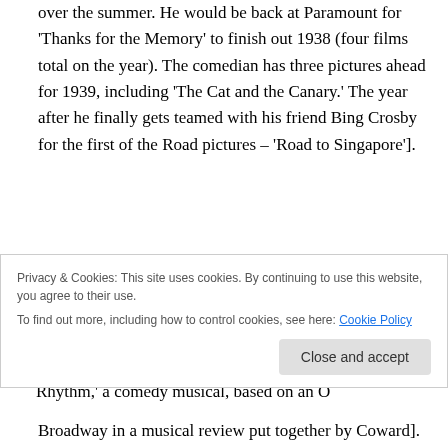over the summer. He would be back at Paramount for 'Thanks for the Memory' to finish out 1938 (four films total on the year). The comedian has three pictures ahead for 1939, including 'The Cat and the Canary.' The year after he finally gets teamed with his friend Bing Crosby for the first of the Road pictures – 'Road to Singapore'].
Witty comedienne Beatrice Lillie shares a birthday with Hope and crosses over to 44. She was also in a film from Paramount this year supporting Bing Crosby – 'Doctor Rhythm,' a comedy musical, based on an O
Broadway in a musical review put together by Coward].